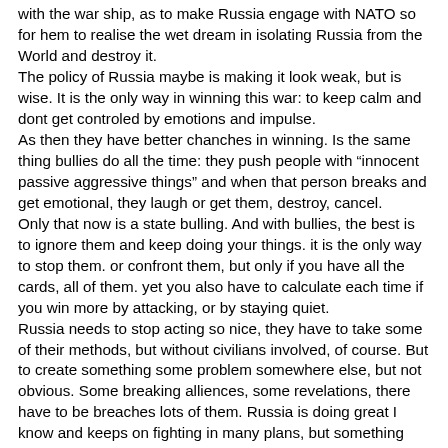with the war ship, as to make Russia engage with NATO so for hem to realise the wet dream in isolating Russia from the World and destroy it.
The policy of Russia maybe is making it look weak, but is wise. It is the only way in winning this war: to keep calm and dont get controled by emotions and impulse.
As then they have better chanches in winning. Is the same thing bullies do all the time: they push people with "innocent passive aggressive things" and when that person breaks and get emotional, they laugh or get them, destroy, cancel.
Only that now is a state bulling. And with bullies, the best is to ignore them and keep doing your things. it is the only way to stop them. or confront them, but only if you have all the cards, all of them. yet you also have to calculate each time if you win more by attacking, or by staying quiet.
Russia needs to stop acting so nice, they have to take some of their methods, but without civilians involved, of course. But to create something some problem somewhere else, but not obvious. Some breaking alliences, some revelations, there have to be breaches lots of them. Russia is doing great I know and keeps on fighting in many plans, but something has to be done, something more, as keep on biting and biting and bulling.